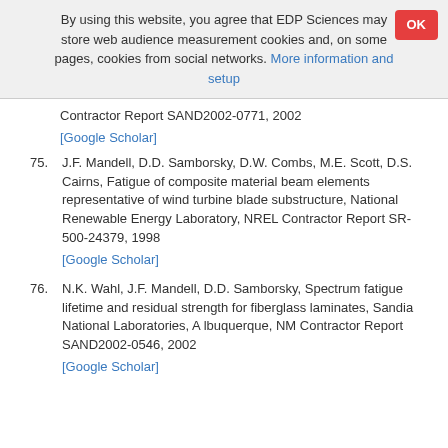By using this website, you agree that EDP Sciences may store web audience measurement cookies and, on some pages, cookies from social networks. More information and setup
Contractor Report SAND2002-0771, 2002 [Google Scholar]
75. J.F. Mandell, D.D. Samborsky, D.W. Combs, M.E. Scott, D.S. Cairns, Fatigue of composite material beam elements representative of wind turbine blade substructure, National Renewable Energy Laboratory, NREL Contractor Report SR-500-24379, 1998 [Google Scholar]
76. N.K. Wahl, J.F. Mandell, D.D. Samborsky, Spectrum fatigue lifetime and residual strength for fiberglass laminates, Sandia National Laboratories, A lbuquerque, NM Contractor Report SAND2002-0546, 2002 [Google Scholar]